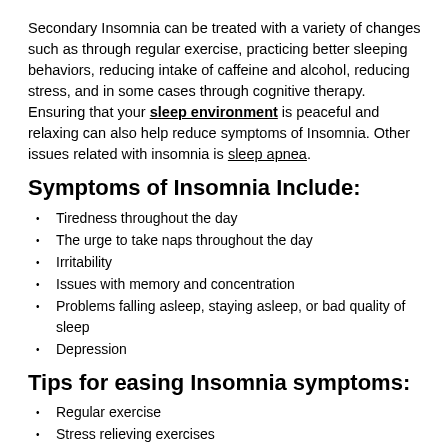Secondary Insomnia can be treated with a variety of changes such as through regular exercise, practicing better sleeping behaviors, reducing intake of caffeine and alcohol, reducing stress, and in some cases through cognitive therapy. Ensuring that your sleep environment is peaceful and relaxing can also help reduce symptoms of Insomnia. Other issues related with insomnia is sleep apnea.
Symptoms of Insomnia Include:
Tiredness throughout the day
The urge to take naps throughout the day
Irritability
Issues with memory and concentration
Problems falling asleep, staying asleep, or bad quality of sleep
Depression
Tips for easing Insomnia symptoms:
Regular exercise
Stress relieving exercises
Not eating before bed